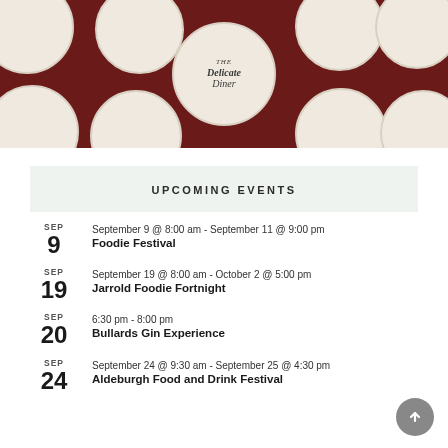[Figure (logo): The Delicate Diner logo on a dark maroon background with white dinner plate circles pattern]
UPCOMING EVENTS
SEP 9 — September 9 @ 8:00 am - September 11 @ 9:00 pm — Foodie Festival
SEP 19 — September 19 @ 8:00 am - October 2 @ 5:00 pm — Jarrold Foodie Fortnight
SEP 20 — 6:30 pm - 8:00 pm — Bullards Gin Experience
SEP 24 — September 24 @ 9:30 am - September 25 @ 4:30 pm — Aldeburgh Food and Drink Festival